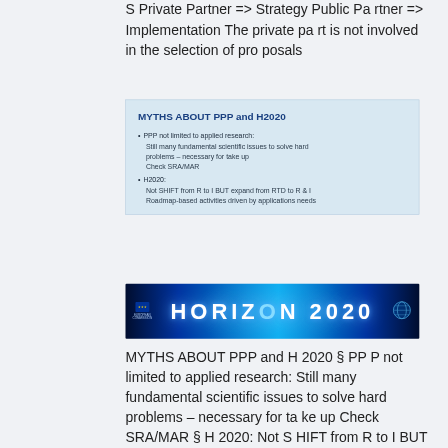S Private Partner => Strategy Public Partner => Implementation The private part is not involved in the selection of proposals
[Figure (screenshot): Slide titled 'MYTHS ABOUT PPP and H2020' with bullet points: PPP not limited to applied research: Still many fundamental scientific issues to solve hard problems – necessary for take up, Check SRA/MAR; H2020: Not SHIFT from R to I BUT expand from RTD to R & I, Roadmap-based activities driven by applications needs]
[Figure (screenshot): Horizon 2020 banner with EU logo on blue background]
MYTHS ABOUT PPP and H 2020 § PPP not limited to applied research: Still many fundamental scientific issues to solve hard problems – necessary for take up Check SRA/MAR § H 2020: Not SHIFT from R to I BUT expand from RTD to R & I, Roadmap-based activities driven by applications needs